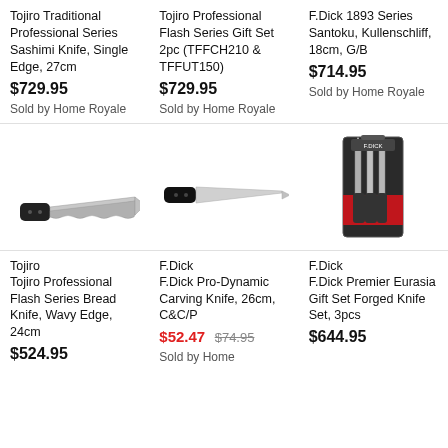Tojiro Traditional Professional Series Sashimi Knife, Single Edge, 27cm
$729.95
Sold by Home Royale
Tojiro Professional Flash Series Gift Set 2pc (TFFCH210 & TFFUT150)
$729.95
Sold by Home Royale
F.Dick 1893 Series Santoku, Kullenschliff, 18cm, G/B
$714.95
Sold by Home Royale
[Figure (photo): Tojiro Professional Flash Series Bread Knife with wavy edge and black handle, 24cm]
[Figure (photo): F.Dick Pro-Dynamic Carving Knife, 26cm, C&C/P, with black handle]
[Figure (photo): F.Dick Premier Eurasia Gift Set Forged Knife Set, 3pcs in packaging]
Tojiro
Tojiro Professional Flash Series Bread Knife, Wavy Edge, 24cm
$524.95
F.Dick
F.Dick Pro-Dynamic Carving Knife, 26cm, C&C/P
$52.47  $74.95
Sold by Home
F.Dick
F.Dick Premier Eurasia Gift Set Forged Knife Set, 3pcs
$644.95